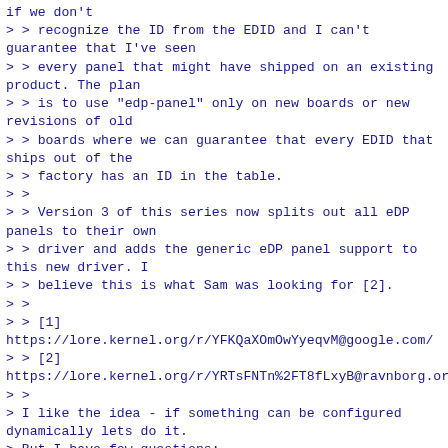if we don't
> > recognize the ID from the EDID and I can't guarantee that I've seen
> > every panel that might have shipped on an existing product. The plan
> > is to use "edp-panel" only on new boards or new revisions of old
> > boards where we can guarantee that every EDID that ships out of the
> > factory has an ID in the table.
> >
> > Version 3 of this series now splits out all eDP panels to their own
> > driver and adds the generic eDP panel support to this new driver. I
> > believe this is what Sam was looking for [2].
> >
> > [1]
https://lore.kernel.org/r/YFKQaXOmOwYyeqvM@google.com/
> > [2]
https://lore.kernel.org/r/YRTsFNTn%2FT8fLxyB@ravnborg.org
> >
> I like the idea - if something can be configured dynamically lets do it.
> But I have few questions:
> 1. Have you read different real panels id's? In many cases (MIPI DSI,
> LVDS with EDID) manufacturers often forgot to set proper id fields. I do
> not know how EDID's ids are reliable in case of edp